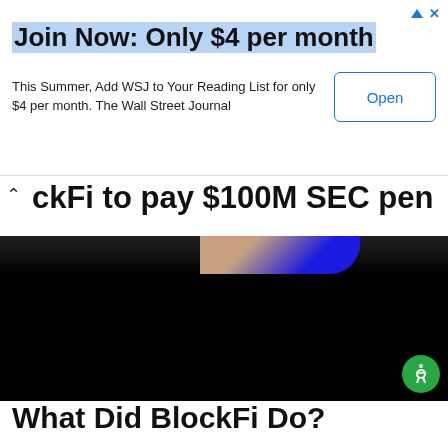Join Now: Only $4 per month
This Summer, Add WSJ to Your Reading List for only $4 per month. The Wall Street Journal
[Figure (screenshot): Cropped news article headline reading 'BlockFi to pay $100M SEC pen...' with an article photo showing a dark image of a person partially visible, with an accessibility button overlay in green.]
What Did BlockFi Do?
Alright, so let’s get into it. What exactly did BlockFi do to receive such a hefty penalty from the SEC?
Basically, BlockFi was charged with failing to register its crypto lending product for retail sale. And, as a